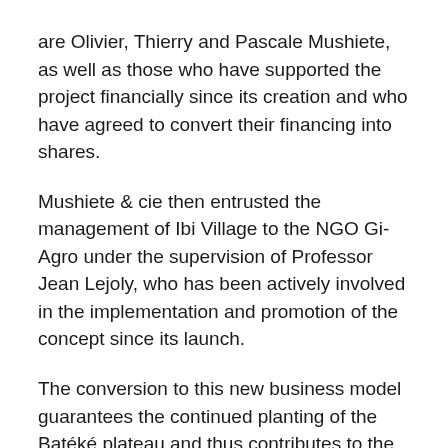are Olivier, Thierry and Pascale Mushiete, as well as those who have supported the project financially since its creation and who have agreed to convert their financing into shares.
Mushiete & cie then entrusted the management of Ibi Village to the NGO Gi-Agro under the supervision of Professor Jean Lejoly, who has been actively involved in the implementation and promotion of the concept since its launch.
The conversion to this new business model guarantees the continued planting of the Batéké plateau and thus contributes to the well-being of the local population.